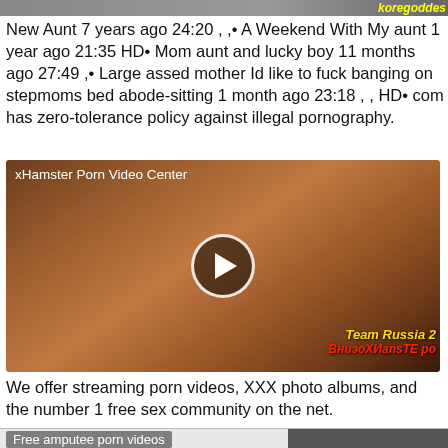[Figure (screenshot): Top strip showing partial image with 'koregoddes' text in yellow italic]
New Aunt 7 years ago 24:20 , ,• A Weekend With My aunt 1 year ago 21:35 HD• Mom aunt and lucky boy 11 months ago 27:49 ,• Large assed mother Id like to fuck banging on stepmoms bed abode-sitting 1 month ago 23:18 , , HD• com has zero-tolerance policy against illegal pornography.
[Figure (screenshot): xHamster Porn Video Center - video thumbnail with play button overlay and 'Team Russia 2' and Cyrillic text overlays]
We offer streaming porn videos, XXX photo albums, and the number 1 free sex community on the net.
[Figure (screenshot): Bottom strip with 'Free amputee porn videos' label on left and dark image on right]